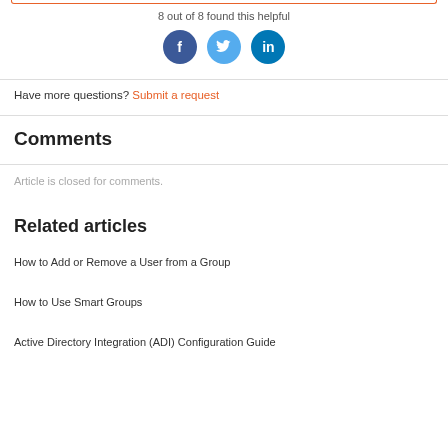8 out of 8 found this helpful
[Figure (illustration): Social sharing icons: Facebook (dark blue circle with 'f'), Twitter (light blue circle with bird icon), LinkedIn (blue circle with 'in')]
Have more questions? Submit a request
Comments
Article is closed for comments.
Related articles
How to Add or Remove a User from a Group
How to Use Smart Groups
Active Directory Integration (ADI) Configuration Guide